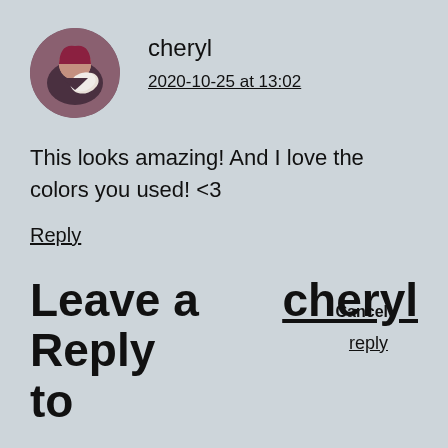[Figure (photo): Circular avatar photo of a person with pink/red hair drinking from a white cup]
cheryl
2020-10-25 at 13:02
This looks amazing! And I love the colors you used! <3
Reply
Leave a Reply cheryl Cancel reply to
Your email address will not be published. Required fields